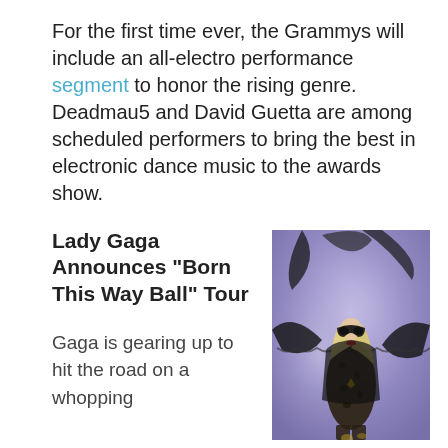For the first time ever, the Grammys will include an all-electro performance segment to honor the rising genre. Deadmau5 and David Guetta are among scheduled performers to bring the best in electronic dance music to the awards show.
Lady Gaga Announces “Born This Way Ball” Tour
[Figure (photo): Lady Gaga in an elaborate black lace and feather costume with a masquerade mask, posing with arms spread wide against a purple/lavender background.]
Gaga is gearing up to hit the road on a whopping